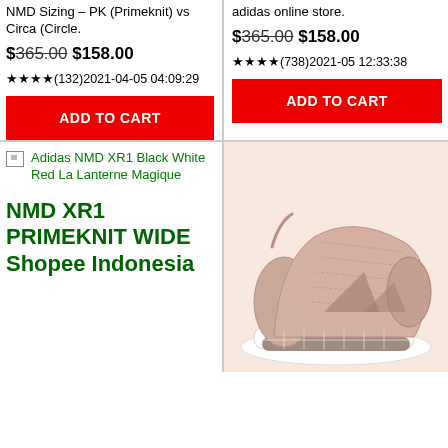NMD Sizing – PK (Primeknit) vs Circa (Circle.
$365.00 $158.00
Reviews: ★★★★(132)2021-04-05 04:09:29
ADD TO CART
adidas online store.
$365.00 $158.00
Reviews: ★★★★(738)2021-05 12:33:38
ADD TO CART
[Figure (other): Broken image placeholder with alt text: Adidas NMD XR1 Black White Red La Lanterne Magique]
NMD XR1 PRIMEKNIT WIDE Shopee Indonesia
[Figure (photo): Photo of a pink/beige Adidas NMD XR1 Primeknit sneaker]